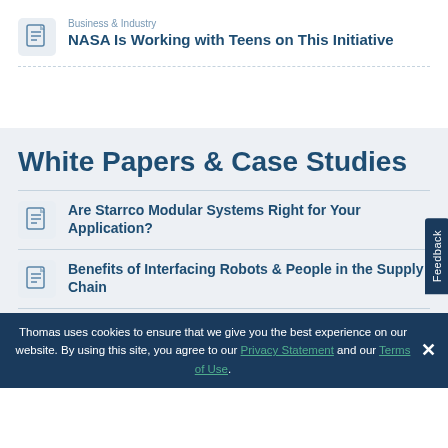Business & Industry
NASA Is Working with Teens on This Initiative
White Papers & Case Studies
Are Starrco Modular Systems Right for Your Application?
Benefits of Interfacing Robots & People in the Supply Chain
Grips and Handles – Providing a Strong and
Thomas uses cookies to ensure that we give you the best experience on our website. By using this site, you agree to our Privacy Statement and our Terms of Use.